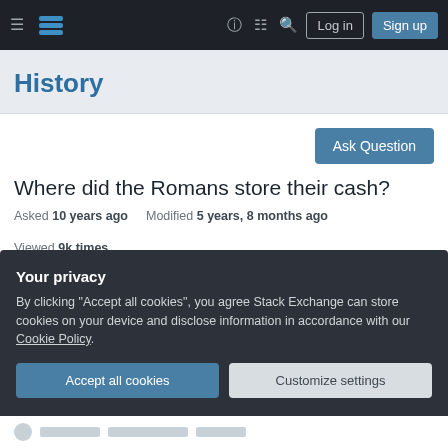History Stack Exchange — navigation bar with Log in and Sign up buttons
History
Ask Question
Where did the Romans store their cash?
Asked 10 years ago   Modified 5 years, 8 months ago   Viewed 9k times
In the era before banking was invented, where did
Your privacy
By clicking "Accept all cookies", you agree Stack Exchange can store cookies on your device and disclose information in accordance with our Cookie Policy.
Accept all cookies
Customize settings